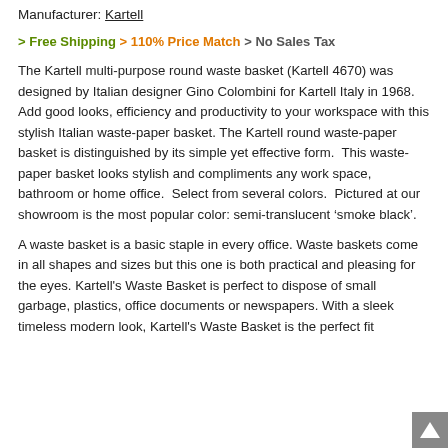Manufacturer: Kartell
> Free Shipping > 110% Price Match > No Sales Tax
The Kartell multi-purpose round waste basket (Kartell 4670) was designed by Italian designer Gino Colombini for Kartell Italy in 1968.  Add good looks, efficiency and productivity to your workspace with this stylish Italian waste-paper basket. The Kartell round waste-paper basket is distinguished by its simple yet effective form.  This waste-paper basket looks stylish and compliments any work space, bathroom or home office.  Select from several colors.  Pictured at our showroom is the most popular color: semi-translucent ‘smoke black’.
A waste basket is a basic staple in every office. Waste baskets come in all shapes and sizes but this one is both practical and pleasing for the eyes. Kartell's Waste Basket is perfect to dispose of small garbage, plastics, office documents or newspapers. With a sleek timeless modern look, Kartell's Waste Basket is the perfect fit